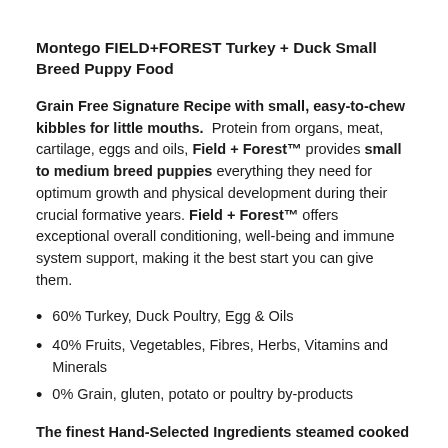Montego FIELD+FOREST Turkey + Duck Small Breed Puppy Food
Grain Free Signature Recipe with small, easy-to-chew kibbles for little mouths. Protein from organs, meat, cartilage, eggs and oils, Field + Forest™ provides small to medium breed puppies everything they need for optimum growth and physical development during their crucial formative years. Field + Forest™ offers exceptional overall conditioning, well-being and immune system support, making it the best start you can give them.
60% Turkey, Duck Poultry, Egg & Oils
40% Fruits, Vegetables, Fibres, Herbs, Vitamins and Minerals
0% Grain, gluten, potato or poultry by-products
The finest Hand-Selected Ingredients steamed cooked to